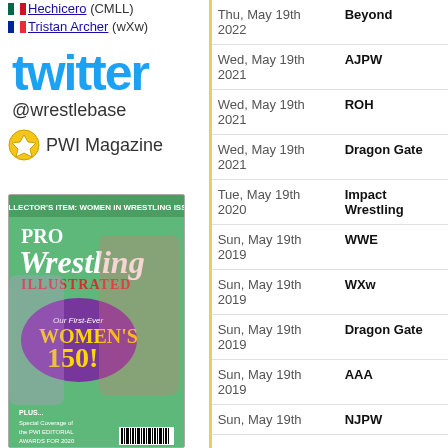🇲🇽 Hechicero (CMLL)
🇫🇷 Tristan Archer (wXw)
[Figure (logo): Twitter logo in blue]
@wrestlebase
[Figure (logo): PWI Magazine gold shield icon]
PWI Magazine
[Figure (photo): Pro Wrestling Illustrated magazine cover - Women's 150 issue]
| Date | Promotion |
| --- | --- |
| Thu, May 19th 2022 | Beyond |
| Wed, May 19th 2021 | AJPW |
| Wed, May 19th 2021 | ROH |
| Wed, May 19th 2021 | Dragon Gate |
| Tue, May 19th 2020 | Impact Wrestling |
| Sun, May 19th 2019 | WWE |
| Sun, May 19th 2019 | WXw |
| Sun, May 19th 2019 | Dragon Gate |
| Sun, May 19th 2019 | AAA |
| Sun, May 19th | NJPW |